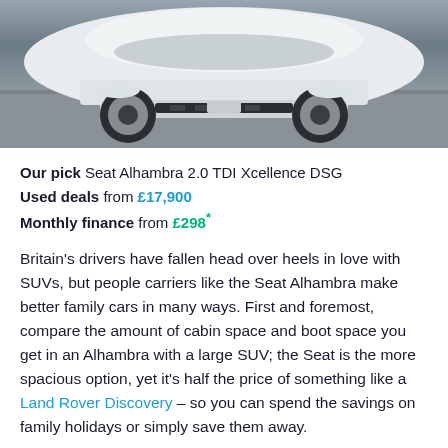[Figure (photo): Partial front view of a white car (Seat Alhambra) from above, on a grey road surface]
Our pick Seat Alhambra 2.0 TDI Xcellence DSG
Used deals from £17,900
Monthly finance from £298*
Britain's drivers have fallen head over heels in love with SUVs, but people carriers like the Seat Alhambra make better family cars in many ways. First and foremost, compare the amount of cabin space and boot space you get in an Alhambra with a large SUV; the Seat is the more spacious option, yet it's half the price of something like a Land Rover Discovery – so you can spend the savings on family holidays or simply save them away.
Then there are the sliding back doors. These are such a work of genius that some drivers choose cars like this on